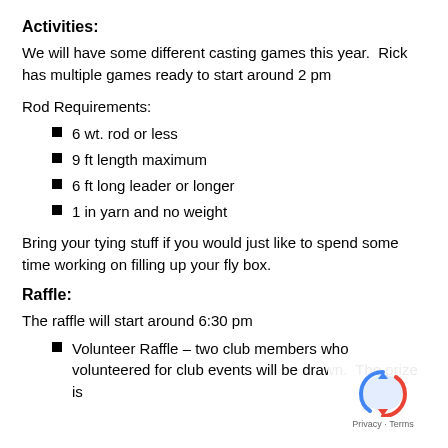Activities:
We will have some different casting games this year.  Rick has multiple games ready to start around 2 pm
Rod Requirements:
6 wt. rod or less
9 ft length maximum
6 ft long leader or longer
1 in yarn and no weight
Bring your tying stuff if you would just like to spend some time working on filling up your fly box.
Raffle:
The raffle will start around 6:30 pm
Volunteer Raffle – two club members who volunteered for club events will be drawn.  The prize is